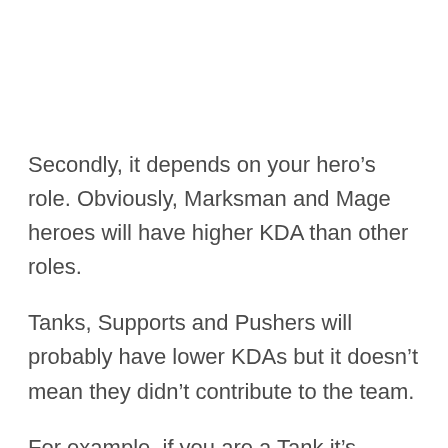Secondly, it depends on your hero's role. Obviously, Marksman and Mage heroes will have higher KDA than other roles.
Tanks, Supports and Pushers will probably have lower KDAs but it doesn't mean they didn't contribute to the team.
For example, if you are a Tank it's normal to have almost no kills at all. You might even have a lot of deaths, but it can mean that you did your best to tank